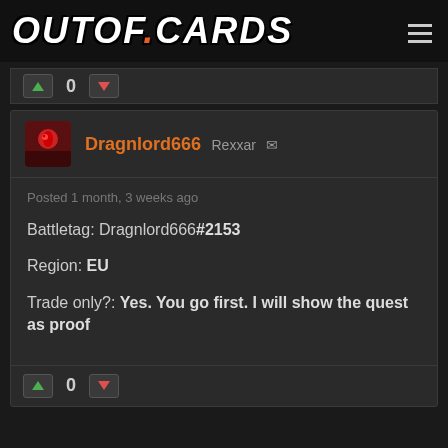OUTOF.CARDS
0 (vote bar)
Dragnlord666 Rexxar
Posted 1 month, 3 weeks ago
Battletag: Dragnlord666#2153
Region: EU
Trade only?: Yes. You go first. I will show the quest as proof
0 (vote bar)